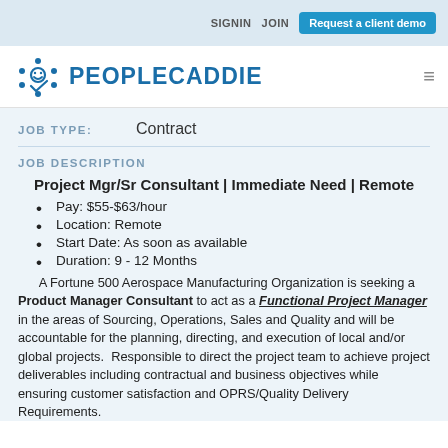SIGNIN   JOIN   Request a client demo
[Figure (logo): PeopleCaddie logo with blue icon and bold blue text]
JOB TYPE:   Contract
JOB DESCRIPTION
Project Mgr/Sr Consultant | Immediate Need | Remote
Pay: $55-$63/hour
Location: Remote
Start Date: As soon as available
Duration: 9 - 12 Months
A Fortune 500 Aerospace Manufacturing Organization is seeking a Product Manager Consultant to act as a Functional Project Manager in the areas of Sourcing, Operations, Sales and Quality and will be accountable for the planning, directing, and execution of local and/or global projects. Responsible to direct the project team to achieve project deliverables including contractual and business objectives while ensuring customer satisfaction and OPRS/Quality Delivery Requirements.